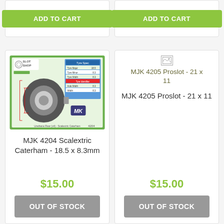[Figure (other): ADD TO CART button in green for left product card (top, partially visible)]
[Figure (other): ADD TO CART button in green for right product card (top, partially visible)]
[Figure (photo): Product image of MJK 4204 Scalextric Caterham tyre showing technical diagram with measurements on green/white packaging]
MJK 4204 Scalextric Caterham - 18.5 x 8.3mm
$15.00
OUT OF STOCK
[Figure (other): Broken image icon for MJK 4205 Proslot product]
MJK 4205 Proslot - 21 x 11
MJK 4205 Proslot - 21 x 11
$15.00
OUT OF STOCK